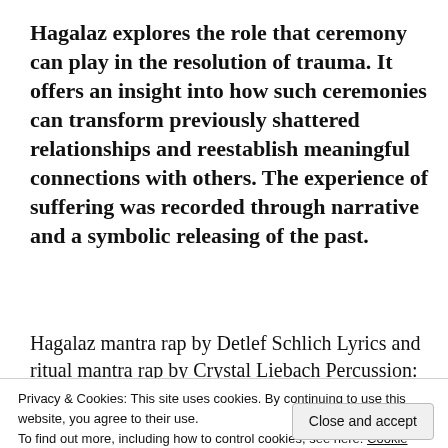Hagalaz explores the role that ceremony can play in the resolution of trauma. It offers an insight into how such ceremonies can transform previously shattered relationships and reestablish meaningful connections with others. The experience of suffering was recorded through narrative and a symbolic releasing of the past.
Hagalaz mantra rap by Detlef Schlich Lyrics and ritual mantra rap by Crystal Liebach Percussion:
Concept – Detlef Schlich aka Transodim